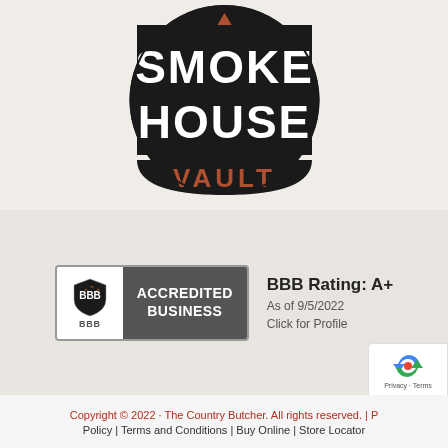[Figure (logo): Smoke House Vault logo: circular black emblem with 'SMOKE HOUSE' in bold black text and 'VAULT' in copper/brown text on a dark semicircle at the bottom.]
[Figure (logo): BBB Accredited Business badge with BBB shield icon on white left panel and 'ACCREDITED BUSINESS' text on dark gray right panel. Next to it: 'BBB Rating: A+', 'As of 9/5/2022', 'Click for Profile'.]
[Figure (other): reCAPTCHA widget badge in bottom right corner with recycle-style arrow icon and 'Privacy - Terms' text.]
Copyright © 2022 · The Country Butcher. All rights reserved. | Privacy Policy | Terms and Conditions | Buy Online | Store Locator